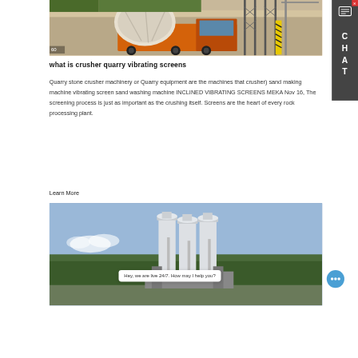[Figure (photo): Construction site with a concrete mixer truck, scaffolding structures and industrial cranes in the background. Number '60' visible in bottom left corner.]
what is crusher quarry vibrating screens
Quarry stone crusher machinery or Quarry equipment are the machines that crusher) sand making machine vibrating screen sand washing machine INCLINED VIBRATING SCREENS MEKA Nov 16, The screening process is just as important as the crushing itself. Screens are the heart of every rock processing plant.
Learn More
[Figure (photo): Industrial facility with tall white silo structures against a blue sky with light clouds. Industrial equipment visible in the foreground.]